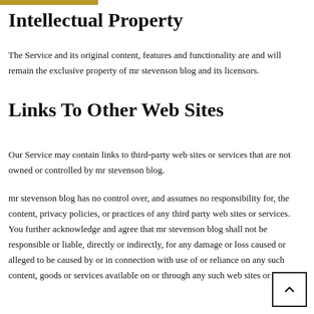Intellectual Property
The Service and its original content, features and functionality are and will remain the exclusive property of mr stevenson blog and its licensors.
Links To Other Web Sites
Our Service may contain links to third-party web sites or services that are not owned or controlled by mr stevenson blog.
mr stevenson blog has no control over, and assumes no responsibility for, the content, privacy policies, or practices of any third party web sites or services. You further acknowledge and agree that mr stevenson blog shall not be responsible or liable, directly or indirectly, for any damage or loss caused or alleged to be caused by or in connection with use of or reliance on any such content, goods or services available on or through any such web sites or services.